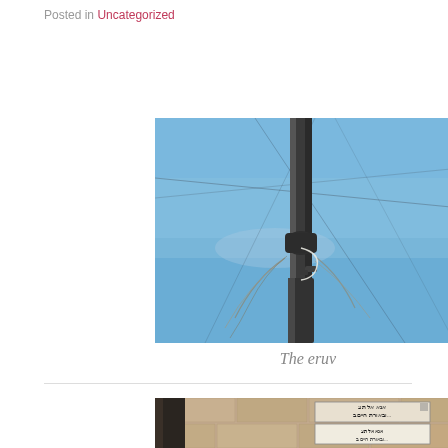Posted in Uncategorized
[Figure (photo): Close-up photograph of a metal pole against a blue sky, with wire/string wrapped around the middle portion of the pole — an eruv (Jewish boundary marker)]
The eruv
[Figure (photo): Photograph of a stone wall with Hebrew text signs attached, partially visible at bottom of page]